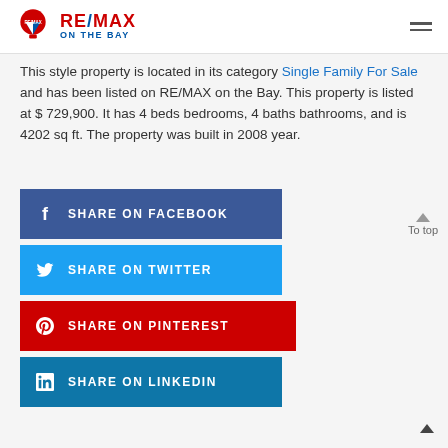RE/MAX ON THE BAY
This style property is located in its category Single Family For Sale and has been listed on RE/MAX on the Bay. This property is listed at $ 729,900. It has 4 beds bedrooms, 4 baths bathrooms, and is 4202 sq ft. The property was built in 2008 year.
[Figure (screenshot): Social media share buttons: Share on Facebook (blue), Share on Twitter (light blue), Share on Pinterest (red), Share on LinkedIn (dark blue)]